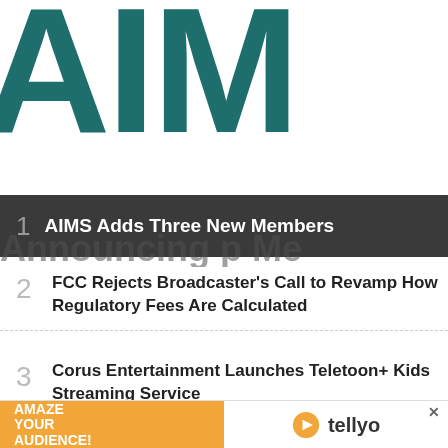[Figure (logo): Large teal AIMS logo letters cropped, showing partial letters AIM]
1 AIMS Adds Three New Members
2 FCC Rejects Broadcaster's Call to Revamp How Regulatory Fees Are Calculated
3 Corus Entertainment Launches Teletoon+ Kids Streaming Service
[Figure (photo): Advertisement banner: AMAZE YOUR AUDIENCE! with tellyo logo and photo of child and adult]